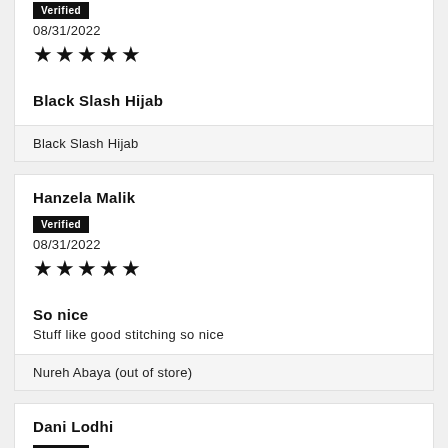Verified
08/31/2022
★★★★★
Black Slash Hijab
Black Slash Hijab
Hanzela Malik
Verified
08/31/2022
★★★★★
So nice
Stuff like good stitching so nice
Nureh Abaya (out of store)
Dani Lodhi
Verified